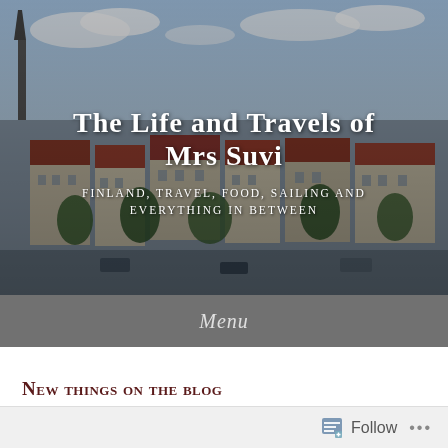[Figure (photo): Aerial cityscape photo of a European city (likely Copenhagen) showing red-roofed buildings, church spires, and green trees, used as the blog header background image.]
The Life and Travels of Mrs Suvi
Finland, travel, food, sailing and everything in between
Menu
New things on the blog
Posted on February 12, 2016 by Suvi
Follow ...